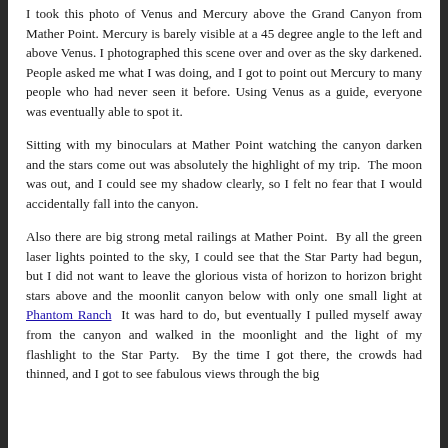I took this photo of Venus and Mercury above the Grand Canyon from Mather Point. Mercury is barely visible at a 45 degree angle to the left and above Venus. I photographed this scene over and over as the sky darkened. People asked me what I was doing, and I got to point out Mercury to many people who had never seen it before. Using Venus as a guide, everyone was eventually able to spot it.
Sitting with my binoculars at Mather Point watching the canyon darken and the stars come out was absolutely the highlight of my trip.  The moon was out, and I could see my shadow clearly, so I felt no fear that I would accidentally fall into the canyon.
Also there are big strong metal railings at Mather Point.  By all the green laser lights pointed to the sky, I could see that the Star Party had begun, but I did not want to leave the glorious vista of horizon to horizon bright stars above and the moonlit canyon below with only one small light at Phantom Ranch  It was hard to do, but eventually I pulled myself away from the canyon and walked in the moonlight and the light of my flashlight to the Star Party.  By the time I got there, the crowds had thinned, and I got to see fabulous views through the big